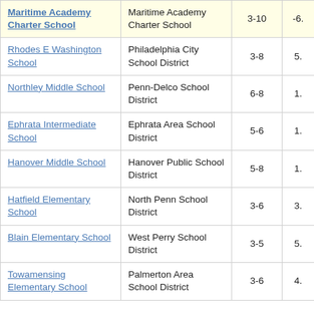| School | District | Grades | Value |
| --- | --- | --- | --- |
| Maritime Academy Charter School | Maritime Academy Charter School | 3-10 | -6. |
| Rhodes E Washington School | Philadelphia City School District | 3-8 | 5. |
| Northley Middle School | Penn-Delco School District | 6-8 | 1. |
| Ephrata Intermediate School | Ephrata Area School District | 5-6 | 1. |
| Hanover Middle School | Hanover Public School District | 5-8 | 1. |
| Hatfield Elementary School | North Penn School District | 3-6 | 3. |
| Blain Elementary School | West Perry School District | 3-5 | 5. |
| Towamensing Elementary School | Palmerton Area School District | 3-6 | 4. |